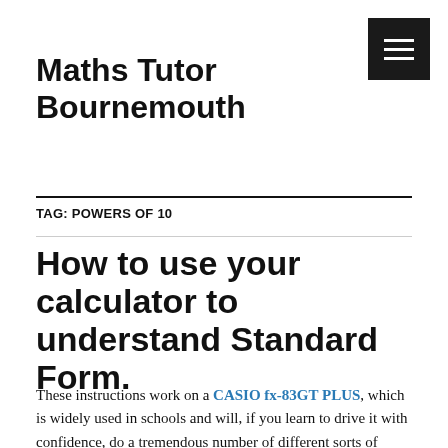Maths Tutor Bournemouth
TAG: POWERS OF 10
How to use your calculator to understand Standard Form.
These instructions work on a CASIO fx-83GT PLUS, which is widely used in schools and will, if you learn to drive it with confidence, do a tremendous number of different sorts of Maths.